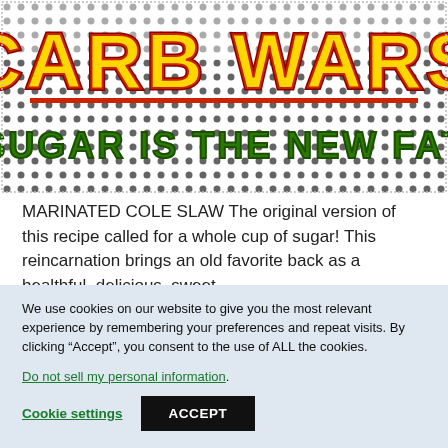[Figure (illustration): Book cover for 'Carb Wars: Sugar Is The New Fat' with halftone dot background. Title 'CARB WARS' in large yellow letters with red outline, subtitle 'SUGAR IS THE NEW FAT' in green letters with halftone pattern background.]
MARINATED COLE SLAW The original version of this recipe called for a whole cup of sugar! This reincarnation brings an old favorite back as a healthful, delicious, sweet
We use cookies on our website to give you the most relevant experience by remembering your preferences and repeat visits. By clicking “Accept”, you consent to the use of ALL the cookies.
Do not sell my personal information.
Cookie settings   ACCEPT